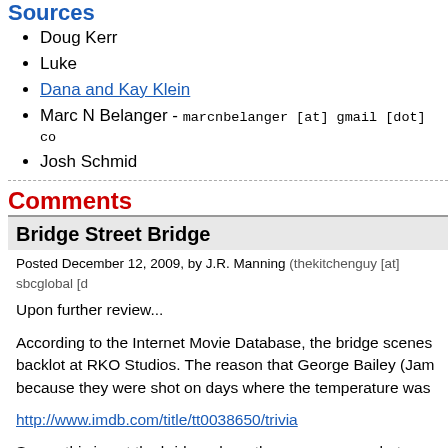Sources
Doug Kerr
Luke
Dana and Kay Klein
Marc N Belanger - marcnbelanger [at] gmail [dot] co
Josh Schmid
Comments
Bridge Street Bridge
Posted December 12, 2009, by J.R. Manning (thekitchenguy [at] sbcglobal [d
Upon further review...

According to the Internet Movie Database, the bridge scenes backlot at RKO Studios. The reason that George Bailey (Jam because they were shot on days where the temperature was
http://www.imdb.com/title/tt0038650/trivia
So no, this is not the bridge where the scenes were shot.
Bridge Street Bridge